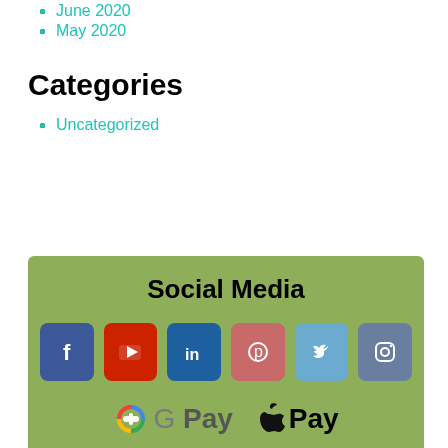June 2020
May 2020
Categories
Uncategorized
[Figure (infographic): Social Media section on a green background showing social media icons (Facebook, YouTube, LinkedIn, Pinterest, Twitter, Instagram) and payment logos (Google Pay, Apple Pay)]